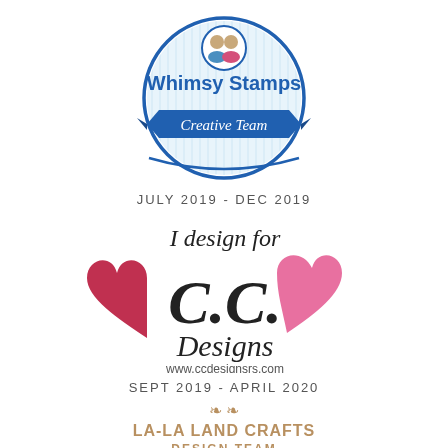[Figure (logo): Whimsy Stamps Creative Team circular badge logo in blue with striped background and ribbon banner]
JULY 2019  -  DEC 2019
[Figure (logo): I design for C.C. Designs logo with red and pink heart shapes and script text, with www.ccdesignsrs.com URL]
SEPT 2019 - APRIL 2020
[Figure (logo): La-La Land Crafts Design Team logo with decorative heart and ornamental design in tan/brown color]